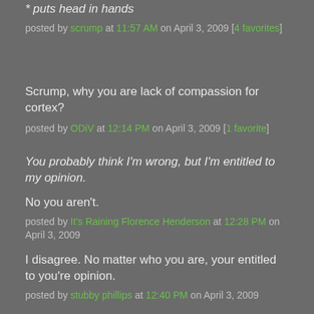* puts head in hands
posted by scrump at 11:57 AM on April 3, 2009 [4 favorites]
Scrump, why you are lack of compassion for cortex?
posted by ODiV at 12:14 PM on April 3, 2009 [1 favorite]
You probably think I'm wrong, but I'm entitled to my opinion.
No you aren't.
posted by It's Raining Florence Henderson at 12:28 PM on April 3, 2009
I disagree. No matter who you are, your entitled to you're opinion.
posted by stubby phillips at 12:40 PM on April 3, 2009